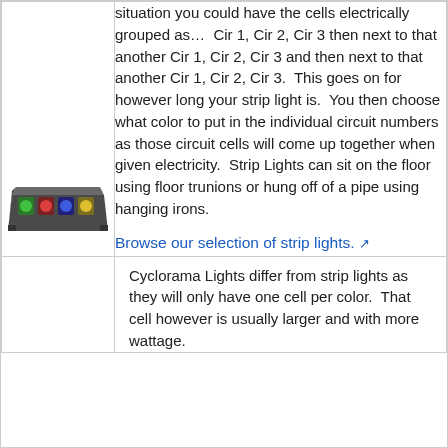situation you could have the cells electrically grouped as…  Cir 1, Cir 2, Cir 3 then next to that another Cir 1, Cir 2, Cir 3 and then next to that another Cir 1, Cir 2, Cir 3.  This goes on for however long your strip light is.  You then choose what color to put in the individual circuit numbers as those circuit cells will come up together when given electricity.  Strip Lights can sit on the floor using floor trunions or hung off of a pipe using hanging irons.
[Figure (photo): A strip light fixture with multiple colored gel filters (green, red, blue, yellow) in a black housing]
Browse our selection of strip lights.
Cyclorama Lights differ from strip lights as they will only have one cell per color.  That cell however is usually larger and with more wattage.